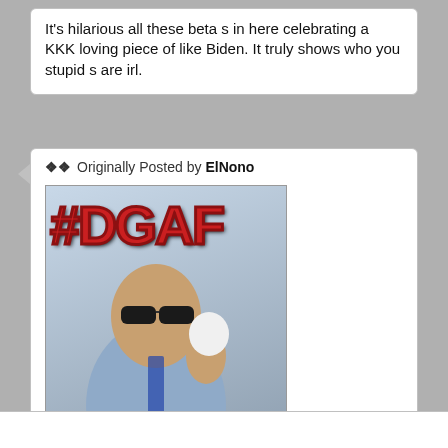It's hilarious all these beta s in here celebrating a KKK loving piece of like Biden. It truly shows who you stupid s are irl.
Originally Posted by ElNono
[Figure (photo): Photo of a man eating an ice cream cone and holding cash, with a red #DGAF hashtag overlay on the image background.]